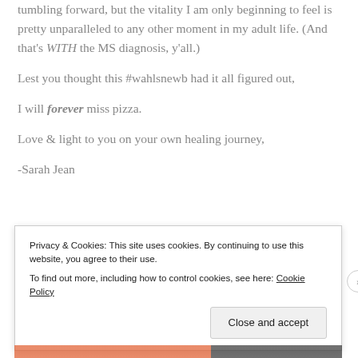tumbling forward, but the vitality I am only beginning to feel is pretty unparalleled to any other moment in my adult life. (And that’s WITH the MS diagnosis, y’all.)
Lest you thought this #wahlsnewb had it all figured out,
I will forever miss pizza.
Love & light to you on your own healing journey,
-Sarah Jean
Privacy & Cookies: This site uses cookies. By continuing to use this website, you agree to their use.
To find out more, including how to control cookies, see here: Cookie Policy
Close and accept